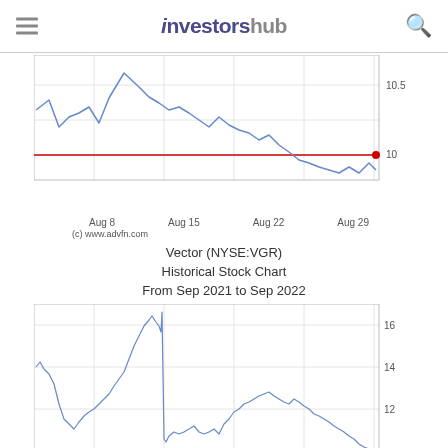investorshub
[Figure (continuous-plot): Vector (NYSE:VGR) stock price line chart from approximately Aug 8 to Aug 29, showing price declining from ~10.7 to ~9.8, with a red horizontal reference line at ~9.8 and a red dot at the end.]
(c) www.advfn.com
Vector (NYSE:VGR)
Historical Stock Chart
From Sep 2021 to Sep 2022
[Figure (continuous-plot): Vector (NYSE:VGR) historical stock price line chart from Sep 2021 to Sep 2022, showing price rising to ~16.5 peak around Jan 22, then dropping sharply to ~10.5, recovering to ~12.5 around May 22, then declining to ~10 by Sep 2022. Red horizontal reference line at ~10 with a red dot at the end.]
(c) www.advfn.com